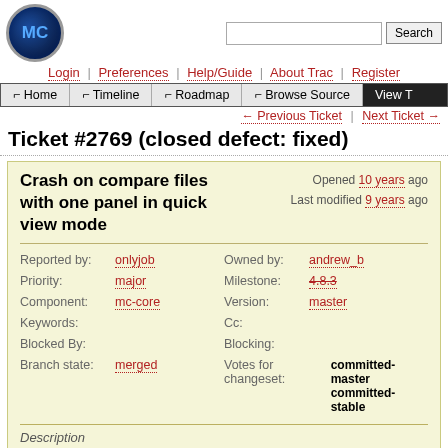[Figure (logo): MC logo - dark blue circular logo with MC text in blue]
Login | Preferences | Help/Guide | About Trac | Register
Home | Timeline | Roadmap | Browse Source | View T...
← Previous Ticket | Next Ticket →
Ticket #2769 (closed defect: fixed)
Crash on compare files with one panel in quick view mode
Opened 10 years ago
Last modified 9 years ago
| Field | Value | Field | Value |
| --- | --- | --- | --- |
| Reported by: | onlyjob | Owned by: | andrew_b |
| Priority: | major | Milestone: | 4.8.3 |
| Component: | mc-core | Version: | master |
| Keywords: |  | Cc: |  |
| Blocked By: |  | Blocking: |  |
| Branch state: | merged | Votes for changeset: | committed-master committed-stable |
Description
Bug-Debian: http://bugs.debian.org/666692
MC crashes (Segmentation fault) on "Compare files" if one of the